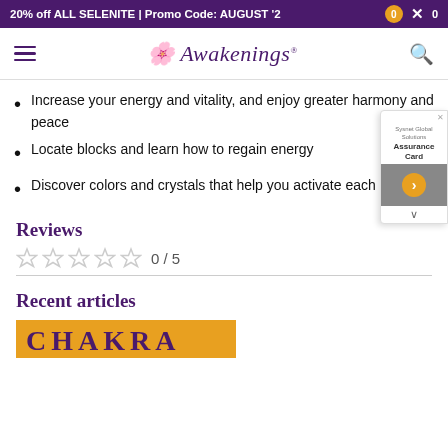20% off ALL SELENITE | Promo Code: AUGUST '2
Awakenings
Increase your energy and vitality, and enjoy greater harmony and peace
Locate blocks and learn how to regain energy
Discover colors and crystals that help you activate each chakra
Reviews
0 / 5
Recent articles
[Figure (photo): Partial view of article banner with text 'CHAKRA' in purple on gold/yellow background]